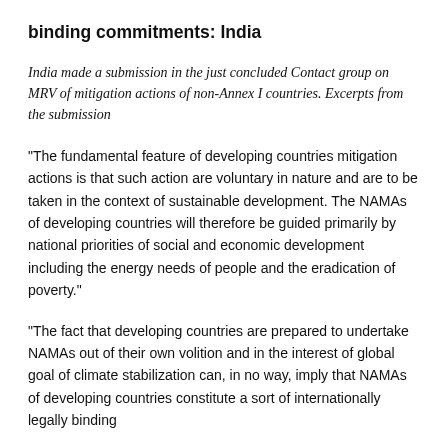binding commitments: India
India made a submission in the just concluded Contact group on MRV of mitigation actions of non-Annex I countries. Excerpts from the submission
"The fundamental feature of developing countries mitigation actions is that such action are voluntary in nature and are to be taken in the context of sustainable development. The NAMAs of developing countries will therefore be guided primarily by national priorities of social and economic development including the energy needs of people and the eradication of poverty."
"The fact that developing countries are prepared to undertake NAMAs out of their own volition and in the interest of global goal of climate stabilization can, in no way, imply that NAMAs of developing countries constitute a sort of internationally legally binding...